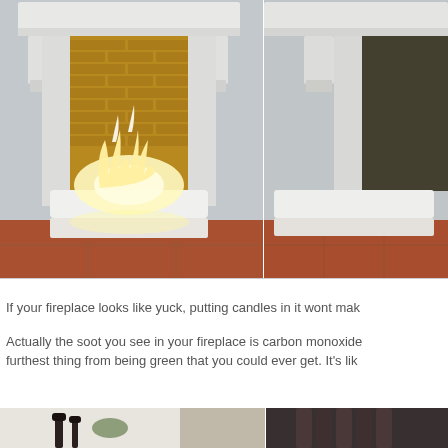[Figure (photo): Fireplace with white surround and mantel, brick interior with active flames burning over white pebbles/stones on the hearth, terracotta tile floor in front]
[Figure (photo): Partial view of fireplace surround from side angle, showing white mantel bracket and terracotta tile floor with white pebble/stone insert on hearth]
If your fireplace looks like yuck, putting candles in it wont mak
Actually the soot you see in your fireplace is carbon monoxide furthest thing from being green that you could ever get. It's lik
[Figure (photo): Bottom-left partial photo showing interior decor with dark vase/candle holders and a plant, light walls]
[Figure (photo): Bottom-right partial photo showing dark vertical cylindrical objects against a dark background]